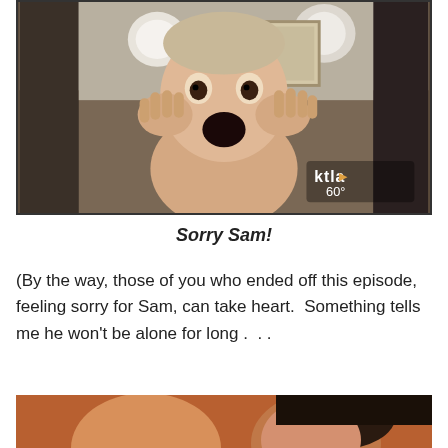[Figure (photo): A young shirtless boy with hands held to his cheeks in a shocked expression, resembling the Home Alone movie pose. A KTLA TV watermark and '60°' temperature are visible in the lower right corner. The background shows a blurred interior scene.]
Sorry Sam!
(By the way, those of you who ended off this episode, feeling sorry for Sam, can take heart.  Something tells me he won't be alone for long .  . .
[Figure (photo): A warmly lit photo showing two people close together, partially cropped at the bottom of the page.]